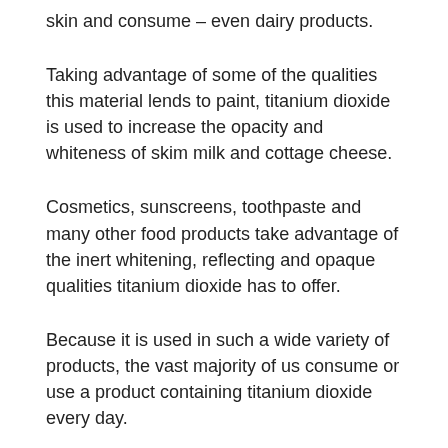skin and consume – even dairy products.
Taking advantage of some of the qualities this material lends to paint, titanium dioxide is used to increase the opacity and whiteness of skim milk and cottage cheese.
Cosmetics, sunscreens, toothpaste and many other food products take advantage of the inert whitening, reflecting and opaque qualities titanium dioxide has to offer.
Because it is used in such a wide variety of products, the vast majority of us consume or use a product containing titanium dioxide every day.
Lighter, stronger metal